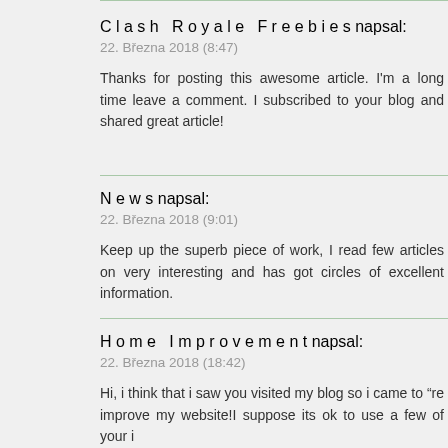Clash Royale Freebies napsal:
22. Březen 2018 (8:47)
Thanks for posting this awesome article. I'm a long time leave a comment. I subscribed to your blog and shared great article!
News napsal:
22. Březen 2018 (9:01)
Keep up the superb piece of work, I read few articles on very interesting and has got circles of excellent information.
Home Improvement napsal:
22. Březen 2018 (18:42)
Hi, i think that i saw you visited my blog so i came to "re improve my website!I suppose its ok to use a few of your i